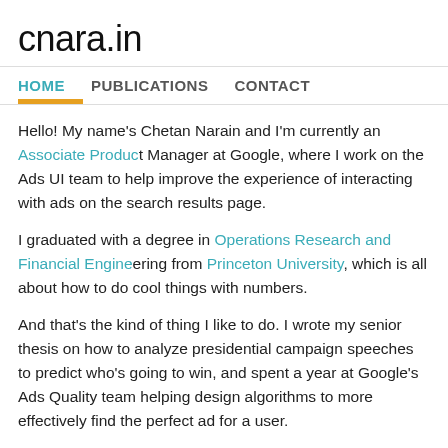cnara.in
HOME   PUBLICATIONS   CONTACT
Hello! My name's Chetan Narain and I'm currently an Associate Product Manager at Google, where I work on the Ads UI team to help improve the experience of interacting with ads on the search results page.
I graduated with a degree in Operations Research and Financial Engineering from Princeton University, which is all about how to do cool things with numbers.
And that's the kind of thing I like to do. I wrote my senior thesis on how to analyze presidential campaign speeches to predict who's going to win, and spent a year at Google's Ads Quality team helping design algorithms to more effectively find the perfect ad for a user.
I also really like to write, and take every opportunity Google gives me to do so. I wrote was one of the winners of Google's exalted annual limerick contest, and I've written a number of newspaper articles — see the publications page for more.
I think education is really important everywhere in the world, so I've worked with Pratham, an organization that spreads education in the slums of India. In 2006, I wrote a long piece chronicling the personal impact that Pratham has had on children from the slums. I talked with the children, their parents, and the teachers — that they all dreamed of finishing their primary education and proceeding